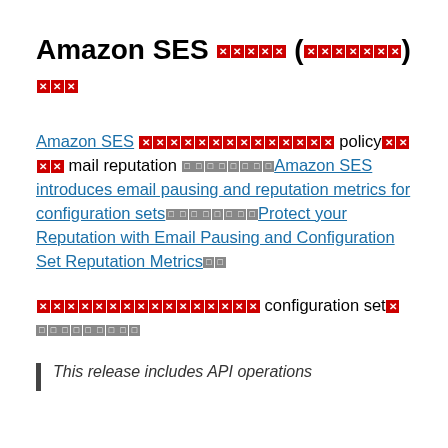Amazon SES □□□□□ (□□□□□□) □□□
Amazon SES □□□□□□□□□□□□□□ policy□□□□ mail reputation □□□□□□□□Amazon SES introduces email pausing and reputation metrics for configuration sets□□□□□□□□Protect your Reputation with Email Pausing and Configuration Set Reputation Metrics□□
□□□□□□□□□□□□□□□□ configuration set□ □□□□□□□□□
This release includes API operations